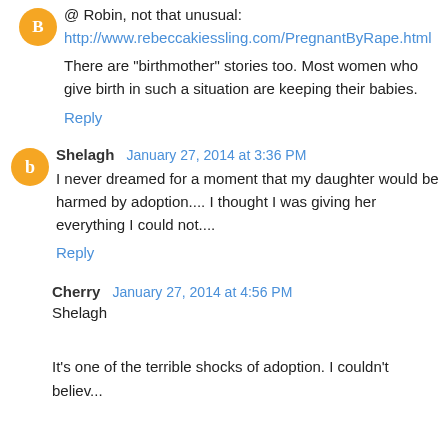@ Robin, not that unusual:
http://www.rebeccakiessling.com/PregnantByRape.html
There are "birthmother" stories too. Most women who give birth in such a situation are keeping their babies.
Reply
Shelagh  January 27, 2014 at 3:36 PM
I never dreamed for a moment that my daughter would be harmed by adoption.... I thought I was giving her everything I could not....
Reply
Cherry  January 27, 2014 at 4:56 PM
Shelagh
It's one of the terrible shocks of adoption. I couldn't believ...